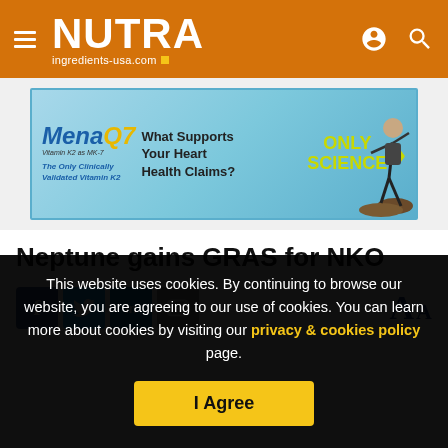NUTRA ingredients-usa.com
[Figure (illustration): MenaQ7 advertisement banner: blue/teal gradient background with MenaQ7 logo, tagline 'The Only Clinically Validated Vitamin K2', text 'What Supports Your Heart Health Claims?', 'ONLY SCIENCE' in yellow-green, arrows, and person jumping on rocks]
Neptune gains GRAS for NKO
[Figure (infographic): Social sharing icons: Facebook (blue), Twitter (light blue), LinkedIn (dark blue), Email (grey), and font size toggles (large A, small A) in navy blue]
This website uses cookies. By continuing to browse our website, you are agreeing to our use of cookies. You can learn more about cookies by visiting our privacy & cookies policy page.